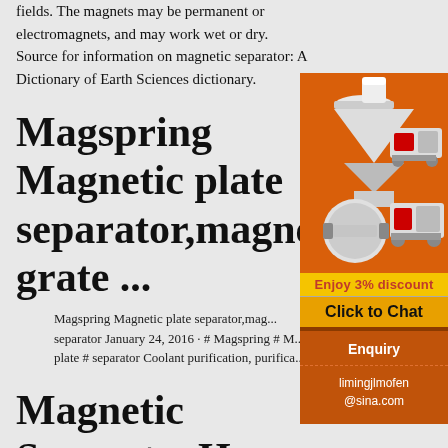fields. The magnets may be permanent or electromagnets, and may work wet or dry. Source for information on magnetic separator: A Dictionary of Earth Sciences dictionary.
Magspring Magnetic plate separator,magneti grate ...
Magspring Magnetic plate separator,mag... separator January 24, 2016 · # Magspring # M... plate # separator Coolant purification, purifica...
Magnetic Separat... Home | Facebook
[Figure (illustration): Advertisement panel with orange background showing industrial mining/crushing machinery images, a yellow 'Enjoy 3% discount' banner, an orange 'Click to Chat' button, an 'Enquiry' section with dashed border, and contact email limingjlmofen@sina.com]